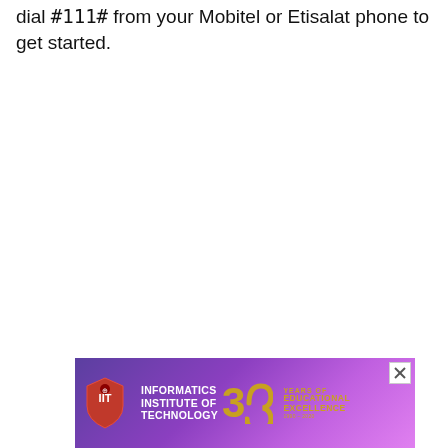dial #111# from your Mobitel or Etisalat phone to get started.
[Figure (illustration): Advertisement banner for Informatics Institute of Technology (IIT) showing 30 Years of Educational Excellence, with a red shield logo on a purple/violet gradient background with a close button in the top right corner.]